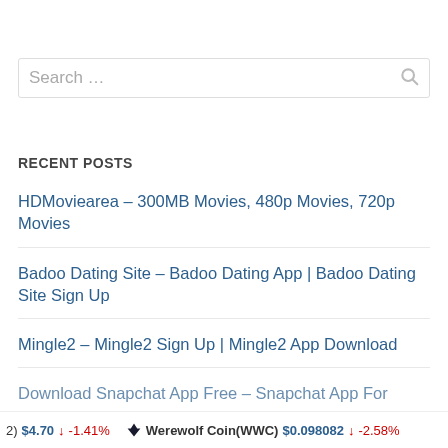[Figure (screenshot): Search box with placeholder text 'Search ...' and a search icon on the right]
RECENT POSTS
HDMoviearea – 300MB Movies, 480p Movies, 720p Movies
Badoo Dating Site – Badoo Dating App | Badoo Dating Site Sign Up
Mingle2 – Mingle2 Sign Up | Mingle2 App Download
Download Snapchat App Free – Snapchat App For
2)  $4.70  ↓  -1.41%    Werewolf Coin(WWC)  $0.098082  ↓  -2.58%